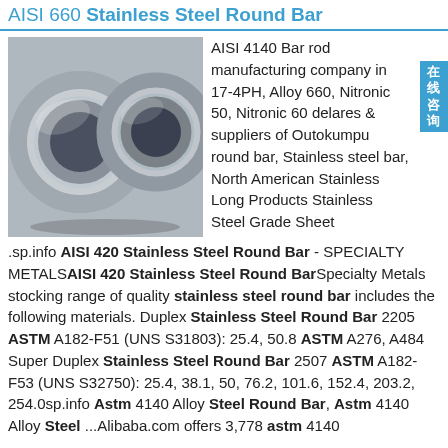AISI 660 Stainless Steel Round Bar
[Figure (photo): Two coils of stainless steel strip/sheet metal, silver colored, viewed from the front showing the coil holes.]
AISI 4140 Bar rod manufacturing company in 17-4PH, Alloy 660, Nitronic 50, Nitronic 60 delares & suppliers of Outokumpu round bar, Stainless steel bar, North American Stainless Long Products Stainless Steel Grade Sheet
.sp.info AISI 420 Stainless Steel Round Bar - SPECIALTY METALS AISI 420 Stainless Steel Round Bar Specialty Metals stocking range of quality stainless steel round bar includes the following materials. Duplex Stainless Steel Round Bar 2205 ASTM A182-F51 (UNS S31803): 25.4, 50.8 ASTM A276, A484 Super Duplex Stainless Steel Round Bar 2507 ASTM A182-F53 (UNS S32750): 25.4, 38.1, 50, 76.2, 101.6, 152.4, 203.2, 254.0sp.info Astm 4140 Alloy Steel Round Bar, Astm 4140 Alloy Steel ...Alibaba.com offers 3,778 astm 4140